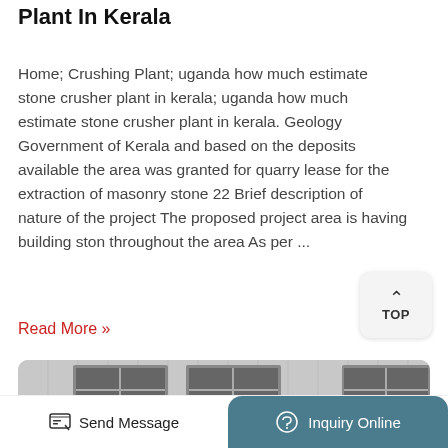Plant In Kerala
Home; Crushing Plant; uganda how much estimate stone crusher plant in kerala; uganda how much estimate stone crusher plant in kerala. Geology Government of Kerala and based on the deposits available the area was granted for quarry lease for the extraction of masonry stone 22 Brief description of nature of the project The proposed project area is having building ston throughout the area As per ...
Read More »
[Figure (photo): Black and white photo of an industrial building exterior with large windows and equipment visible in the foreground]
Send Message   Inquiry Online